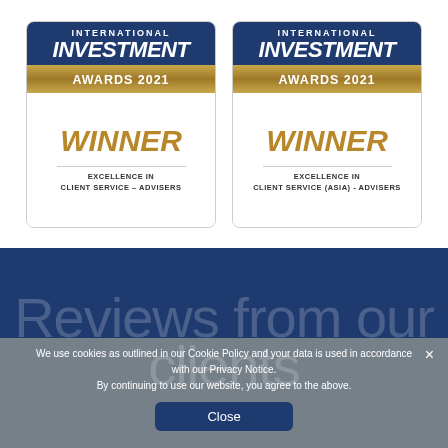[Figure (logo): International Investment Awards 2021 Winner badge - Excellence in Client Service – Advisers]
[Figure (logo): International Investment Awards 2021 Winner badge - Excellence in Client Service (Asia) - Advisers]
Reviews from our clients
We use cookies as outlined in our Cookie Policy and your data is used in accordance with our Privacy Notice. By continuing to use our website, you agree to the above.
Close